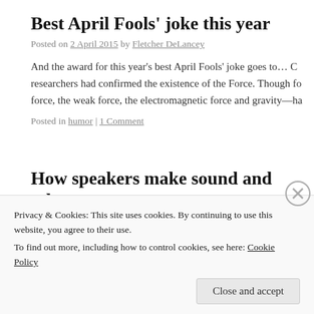Best April Fools' joke this year
Posted on 2 April 2015 by Fletcher DeLancey
And the award for this year's best April Fools' joke goes to… C researchers had confirmed the existence of the Force. Though fo force, the weak force, the electromagnetic force and gravity—ha
Posted in humor | 1 Comment
How speakers make sound and other coo
Posted on 1 April 2015 by Fletcher DeLancey
Privacy & Cookies: This site uses cookies. By continuing to use this website, you agree to their use.
To find out more, including how to control cookies, see here: Cookie Policy